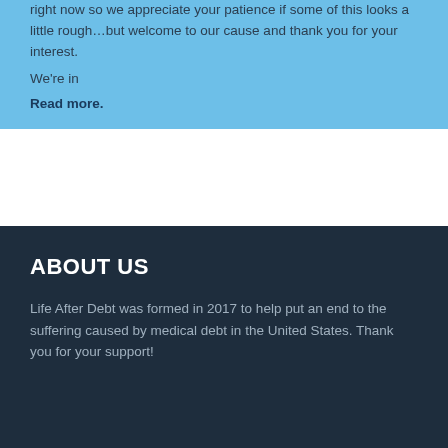right now so we appreciate your patience if some of this looks a little rough…but welcome to our cause and thank you for your interest. We're in
Read more.
ABOUT US
Life After Debt was formed in 2017 to help put an end to the suffering caused by medical debt in the United States. Thank you for your support!